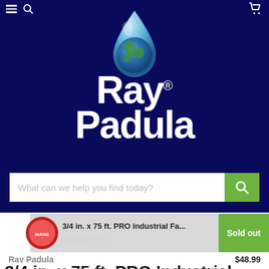[Figure (screenshot): Ray Padula brand logo with globe water drop on dark navy background]
What can we help you find today?
3/4 in. x 75 ft. PRO Industrial Fa...
Sold out
Ray Padula
$48.99
3/4 in. x 75 ft. PRO Industrial Farm and Ranch Hose